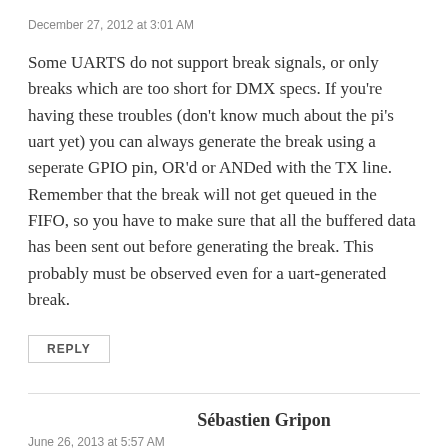December 27, 2012 at 3:01 AM
Some UARTS do not support break signals, or only breaks which are too short for DMX specs. If you're having these troubles (don't know much about the pi's uart yet) you can always generate the break using a seperate GPIO pin, OR'd or ANDed with the TX line. Remember that the break will not get queued in the FIFO, so you have to make sure that all the buffered data has been sent out before generating the break. This probably must be observed even for a uart-generated break.
REPLY
Sébastien Gripon
June 26, 2013 at 5:57 AM